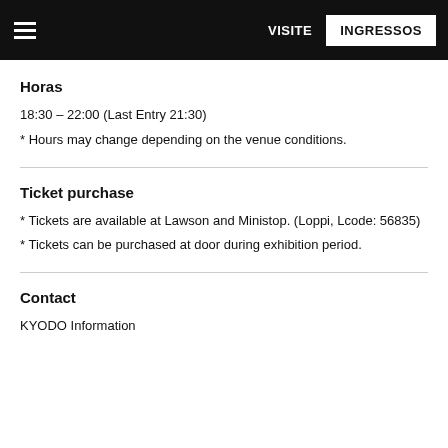VISITE  INGRESSOS
Horas
18:30 – 22:00 (Last Entry 21:30)
* Hours may change depending on the venue conditions.
Ticket purchase
* Tickets are available at Lawson and Ministop. (Loppi, Lcode: 56835)
* Tickets can be purchased at door during exhibition period.
Contact
KYODO Information